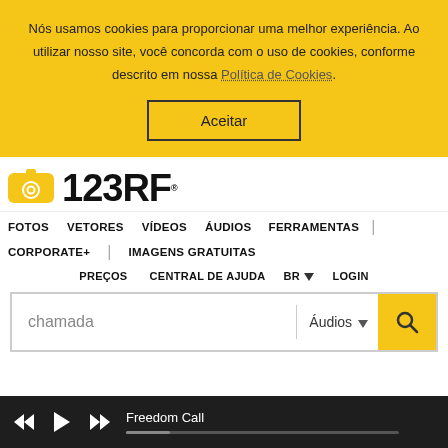Nós usamos cookies para proporcionar uma melhor experiência. Ao utilizar nosso site, você concorda com o uso de cookies, conforme descrito em nossa Política de Cookies.
Aceitar
[Figure (logo): 123RF logo with yellow camera icon]
FOTOS   VETORES   VÍDEOS   ÁUDIOS   FERRAMENTAS   |
CORPORATE+   |   IMAGENS GRATUITAS
PREÇOS   CENTRAL DE AJUDA   BR ▾   LOGIN
chamada
Áudios ▾
Freedom Call